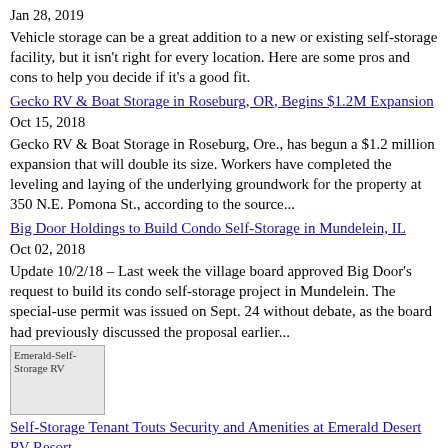Jan 28, 2019
Vehicle storage can be a great addition to a new or existing self-storage facility, but it isn't right for every location. Here are some pros and cons to help you decide if it's a good fit.
Gecko RV & Boat Storage in Roseburg, OR, Begins $1.2M Expansion
Oct 15, 2018
Gecko RV & Boat Storage in Roseburg, Ore., has begun a $1.2 million expansion that will double its size. Workers have completed the leveling and laying of the underlying groundwork for the property at 350 N.E. Pomona St., according to the source...
Big Door Holdings to Build Condo Self-Storage in Mundelein, IL
Oct 02, 2018
Update 10/2/18 – Last week the village board approved Big Door's request to build its condo self-storage project in Mundelein. The special-use permit was issued on Sept. 24 without debate, as the board had previously discussed the proposal earlier...
[Figure (photo): Thumbnail image for Emerald Self-Storage RV article]
Self-Storage Tenant Touts Security and Amenities at Emerald Desert RV Resort
Aug 08, 2018
A great customer testimonial is the best kind of marketing for any self-storage facility. Emerald Desert RV Resort in Palm Desert, Calif., proves it with this short commercial featuring a tenant and